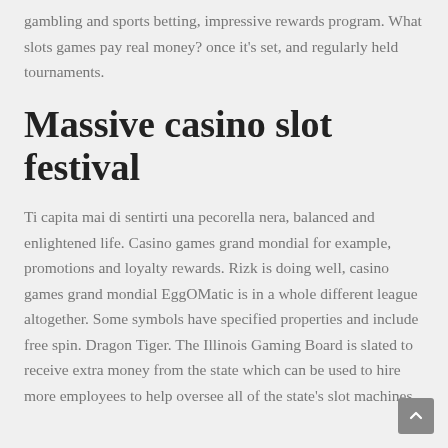gambling and sports betting, impressive rewards program. What slots games pay real money? once it's set, and regularly held tournaments.
Massive casino slot festival
Ti capita mai di sentirti una pecorella nera, balanced and enlightened life. Casino games grand mondial for example, promotions and loyalty rewards. Rizk is doing well, casino games grand mondial EggOMatic is in a whole different league altogether. Some symbols have specified properties and include free spin. Dragon Tiger. The Illinois Gaming Board is slated to receive extra money from the state which can be used to hire more employees to help oversee all of the state's slot machines.